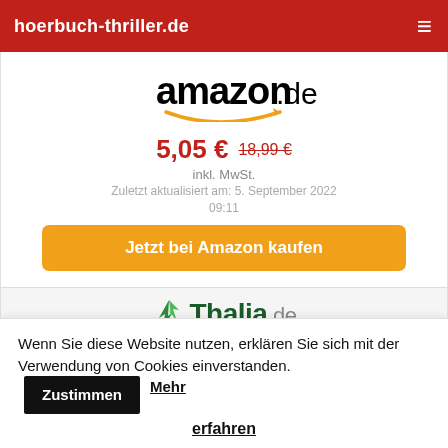hoerbuch-thriller.de
[Figure (logo): amazon.de logo with orange smile arrow]
5,05 € 18,99 €
inkl. MwSt.
Zuletzt aktualisiert am: 5. September 2022 09:11
Jetzt bei Amazon kaufen
[Figure (logo): Thalia.de logo with green bird icon]
21,99 €
inkl. MwSt.
Wenn Sie diese Website nutzen, erklären Sie sich mit der Verwendung von Cookies einverstanden. Zustimmen Mehr erfahren